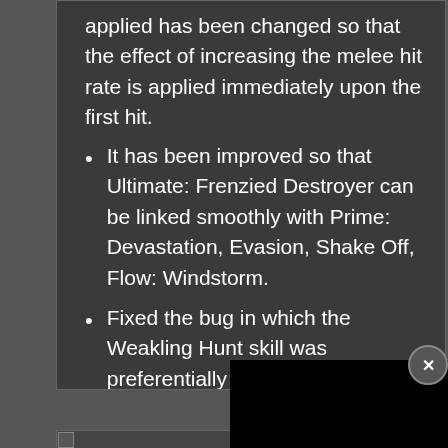When a successful Headbutt hit is applied has been changed so that the effect of increasing the melee hit rate is applied immediately upon the first hit.
It has been improved so that Ultimate: Frenzied Destroyer can be linked smoothly with Prime: Devastation, Evasion, Shake Off, Flow: Windstorm.
Fixed the bug in which the Weakling Hunt skill was preferentially activated when trying to link with Predatory Hunt and skills.